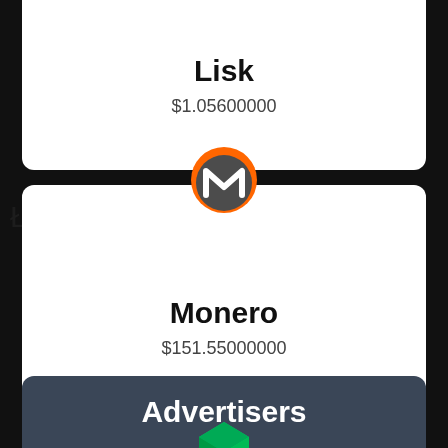Lisk
$1.05600000
[Figure (logo): Monero cryptocurrency logo - orange circle with white M shape]
Monero
$151.55000000
[Figure (logo): Neo cryptocurrency logo - green geometric cube shape]
Neo
$9.12000000
Advertisers